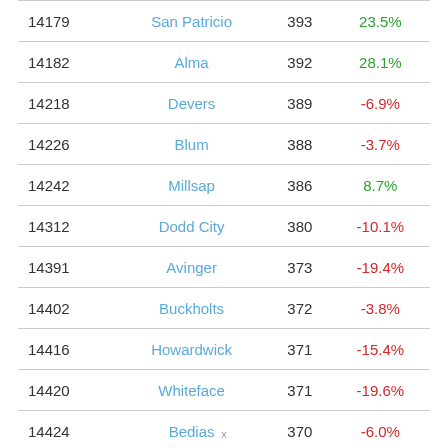| ID | Name | Value | Change |
| --- | --- | --- | --- |
| 14179 | San Patricio | 393 | 23.5% |
| 14182 | Alma | 392 | 28.1% |
| 14218 | Devers | 389 | -6.9% |
| 14226 | Blum | 388 | -3.7% |
| 14242 | Millsap | 386 | 8.7% |
| 14312 | Dodd City | 380 | -10.1% |
| 14391 | Avinger | 373 | -19.4% |
| 14402 | Buckholts | 372 | -3.8% |
| 14416 | Howardwick | 371 | -15.4% |
| 14420 | Whiteface | 371 | -19.6% |
| 14424 | Bedias | 370 | -6.0% |
| 14434 | Blanket | 369 | -8.2% |
| 14436 | Chireno | 369 | -8.8% |
x